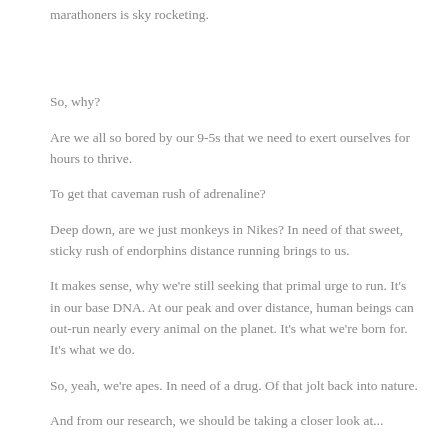marathoners is sky rocketing.
So, why?
Are we all so bored by our 9-5s that we need to exert ourselves for hours to thrive.
To get that caveman rush of adrenaline?
Deep down, are we just monkeys in Nikes? In need of that sweet, sticky rush of endorphins distance running brings to us.
It makes sense, why we're still seeking that primal urge to run. It's in our base DNA. At our peak and over distance, human beings can out-run nearly every animal on the planet. It's what we're born for. It's what we do.
So, yeah, we're apes. In need of a drug. Of that jolt back into nature.
And from our research, we should be taking a closer look at...